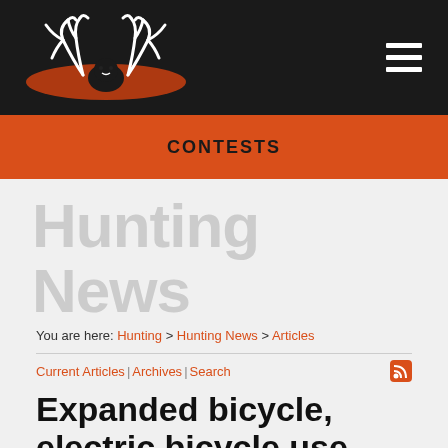[Figure (logo): Hunting website logo with white antlers and orange oval on dark background]
CONTESTS
Hunting News
You are here: Hunting > Hunting News > Articles
Current Articles | Archives | Search
Expanded bicycle, electric bicycle use starts Feb. 28